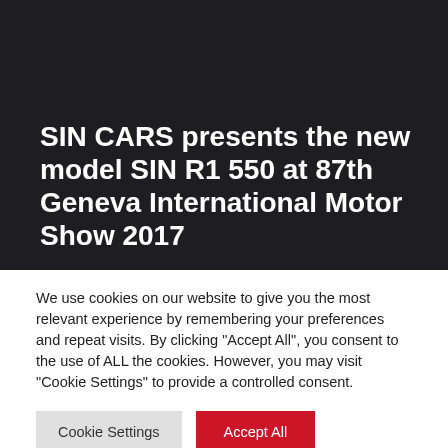SIN CARS presents the new model SIN R1 550 at 87th Geneva International Motor Show 2017
We use cookies on our website to give you the most relevant experience by remembering your preferences and repeat visits. By clicking "Accept All", you consent to the use of ALL the cookies. However, you may visit "Cookie Settings" to provide a controlled consent.